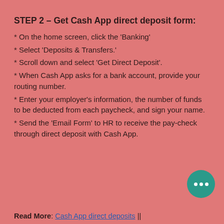STEP 2 – Get Cash App direct deposit form:
* On the home screen, click the 'Banking'
* Select 'Deposits & Transfers.'
* Scroll down and select 'Get Direct Deposit'.
* When Cash App asks for a bank account, provide your routing number.
* Enter your employer's information, the number of funds to be deducted from each paycheck, and sign your name.
* Send the 'Email Form' to HR to receive the pay-check through direct deposit with Cash App.
Read More: Cash App direct deposits ||